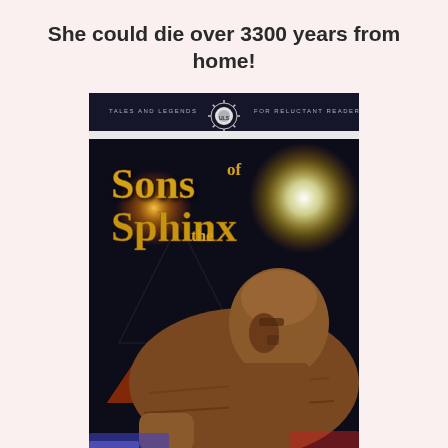She could die over 3300 years from home!
[Figure (illustration): Book cover of 'Sons of the Sphinx' from the 'Tales and Legends for Reluctant Readers' series, showing the Great Sphinx of Giza with pyramids and dramatic glowing light effects in the background. The title is displayed in gold text.]